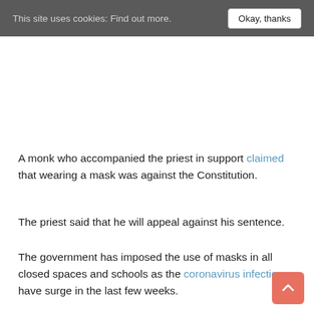This site uses cookies: Find out more. Okay, thanks
A monk who accompanied the priest in support claimed that wearing a mask was against the Constitution.
The priest said that he will appeal against his sentence.
The government has imposed the use of masks in all closed spaces and schools as the coronavirus infections have surge in the last few weeks.